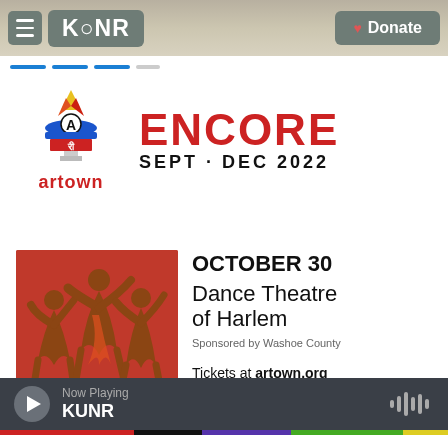KUNR | Donate
[Figure (logo): Artown logo with colorful stylized figure above 'artown' wordmark and ENCORE SEPT - DEC 2022 text]
[Figure (photo): Three dancers from Dance Theatre of Harlem on a red background]
OCTOBER 30
Dance Theatre of Harlem
Sponsored by Washoe County

Tickets at artown.org
[Figure (other): Colored stripe bar: red, black, purple, green, yellow]
Now Playing
KUNR